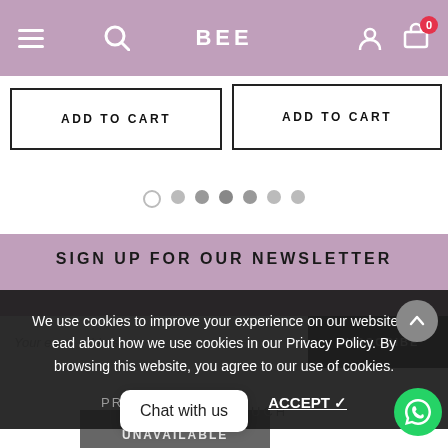BEE
ADD TO CART
ADD TO CART
[Figure (other): Carousel pagination dots, 7 dots with first one empty/outline and rest filled gray]
SIGN UP FOR OUR NEWSLETTER
Your email address
SUBSCRIBE
We use cookies to improve your experience on our website. Read about how we use cookies in our Privacy Policy. By browsing this website, you agree to our use of cookies.
PRIVACY POLICY
ACCEPT ✓
GET IN TOUCH
Chat with us
UNAVAILABLE